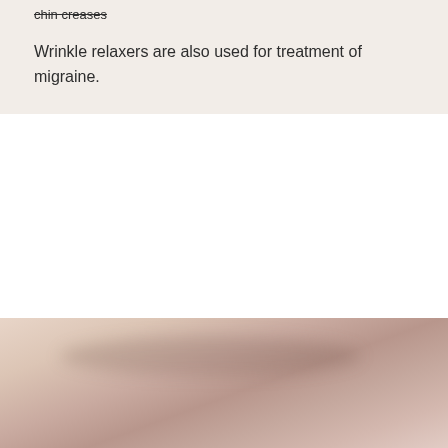chin creases
Wrinkle relaxers are also used for treatment of migraine.
[Figure (photo): Close-up photograph of skin surface, likely showing facial area relevant to wrinkle relaxer treatment]